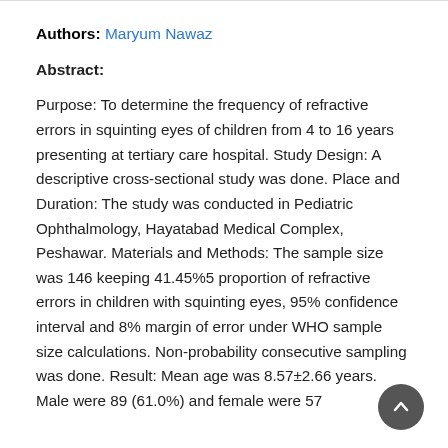Authors: Maryum Nawaz
Abstract:
Purpose: To determine the frequency of refractive errors in squinting eyes of children from 4 to 16 years presenting at tertiary care hospital. Study Design: A descriptive cross-sectional study was done. Place and Duration: The study was conducted in Pediatric Ophthalmology, Hayatabad Medical Complex, Peshawar. Materials and Methods: The sample size was 146 keeping 41.45%5 proportion of refractive errors in children with squinting eyes, 95% confidence interval and 8% margin of error under WHO sample size calculations. Non-probability consecutive sampling was done. Result: Mean age was 8.57±2.66 years. Male were 89 (61.0%) and female were 57